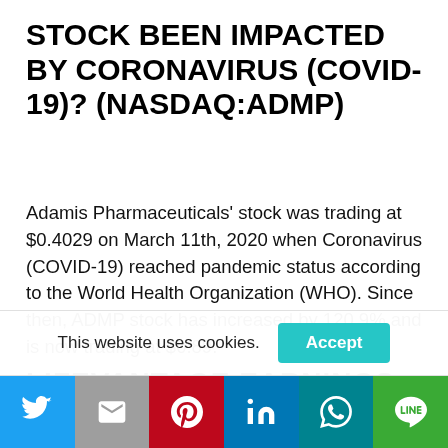STOCK BEEN IMPACTED BY CORONAVIRUS (COVID-19)? (NASDAQ:ADMP)
Adamis Pharmaceuticals' stock was trading at $0.4029 on March 11th, 2020 when Coronavirus (COVID-19) reached pandemic status according to the World Health Organization (WHO). Since then, ADMP stock has increased by 120.9% and is now trading at $0.89.
LIFEVANTAGE EARNINGS
This website uses cookies.
Accept